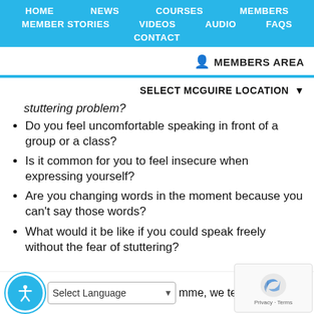HOME  NEWS  COURSES  MEMBERS  MEMBER STORIES  VIDEOS  AUDIO  FAQS  CONTACT
MEMBERS AREA
SELECT MCGUIRE LOCATION
stuttering problem?
Do you feel uncomfortable speaking in front of a group or a class?
Is it common for you to feel insecure when expressing yourself?
Are you changing words in the moment because you can't say those words?
What would it be like if you could speak freely without the fear of stuttering?
Select Language   mme, we teach you h become an articulate eloquent speaker and start